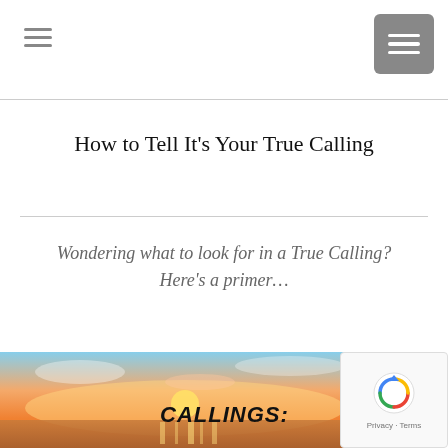How to Tell It’s Your True Calling
Wondering what to look for in a True Calling?
Here’s a primer…
[Figure (photo): Sunset sky photo with warm orange and pink tones, with bold italic text overlay reading 'CALLINGS:']